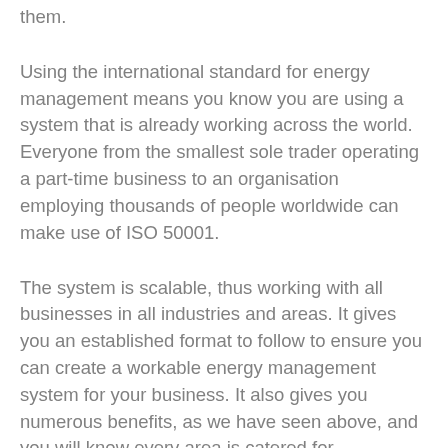them.
Using the international standard for energy management means you know you are using a system that is already working across the world. Everyone from the smallest sole trader operating a part-time business to an organisation employing thousands of people worldwide can make use of ISO 50001.
The system is scalable, thus working with all businesses in all industries and areas. It gives you an established format to follow to ensure you can create a workable energy management system for your business. It also gives you numerous benefits, as we have seen above, and you will know every area is catered for.
If you apply for ISO 50001 certification, it puts your business ahead of those that do not have this certification. This is a significant benefit because it means you can develop your credibility and strengthen